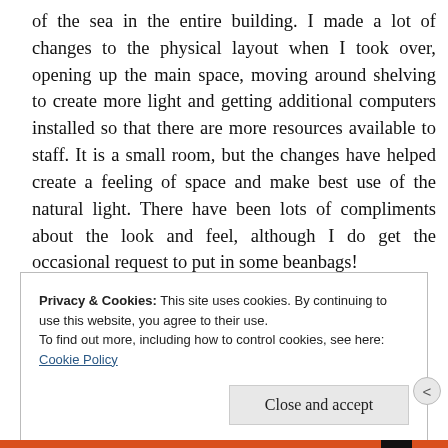of the sea in the entire building. I made a lot of changes to the physical layout when I took over, opening up the main space, moving around shelving to create more light and getting additional computers installed so that there are more resources available to staff. It is a small room, but the changes have helped create a feeling of space and make best use of the natural light. There have been lots of compliments about the look and feel, although I do get the occasional request to put in some beanbags!
Privacy & Cookies: This site uses cookies. By continuing to use this website, you agree to their use.
To find out more, including how to control cookies, see here: Cookie Policy